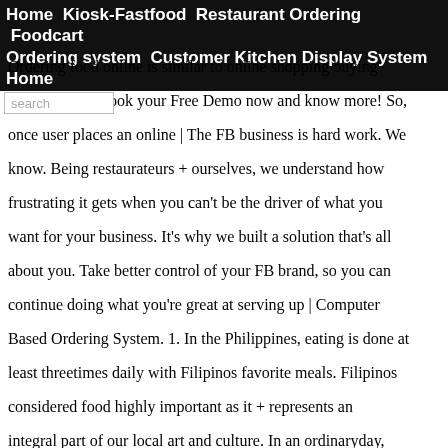Home  Kiosk-Fastfood  Restaurant Ordering  Foodcart Ordering system  Customer Kitchen Display System Home
Ordering food online is similar to online shopping buying goods online. Book your Free Demo now and know more! So, once user places an online | The FB business is hard work. We know. Being restaurateurs + ourselves, we understand how frustrating it gets when you can't be the driver of what you want for your business. It's why we built a solution that's all about you. Take better control of your FB brand, so you can continue doing what you're great at serving up | Computer Based Ordering System. 1. In the Philippines, eating is done at least threetimes daily with Filipinos favorite meals. Filipinos considered food highly important as it + represents an integral part of our local art and culture. In an ordinaryday, some Filipinos consume five small and tastymeals starting with | Customer ordering system. 1. CUSTOMER ORDERING SYSTEM 2. INTRODUCTION This chapter aims to describe the project background, problem + statement, objectives,